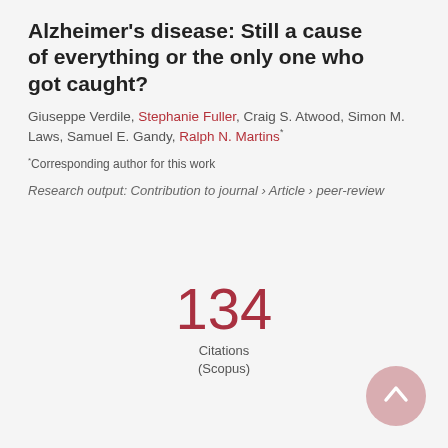Alzheimer's disease: Still a cause of everything or the only one who got caught?
Giuseppe Verdile, Stephanie Fuller, Craig S. Atwood, Simon M. Laws, Samuel E. Gandy, Ralph N. Martins* *Corresponding author for this work
Research output: Contribution to journal › Article › peer-review
134 Citations (Scopus)